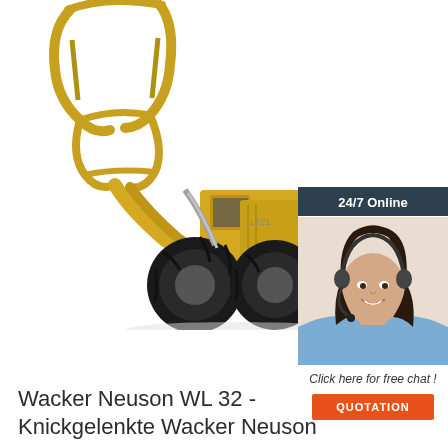[Figure (photo): Yellow wheel loader / articulated loader with large grapple/claw attachment raised up, photographed on white background]
[Figure (photo): Chat widget showing a smiling female customer service agent wearing a headset, with '24/7 Online' header, 'Click here for free chat!' text, and an orange QUOTATION button]
Wacker Neuson WL 32 - Knickgelenkte Wacker Neuson